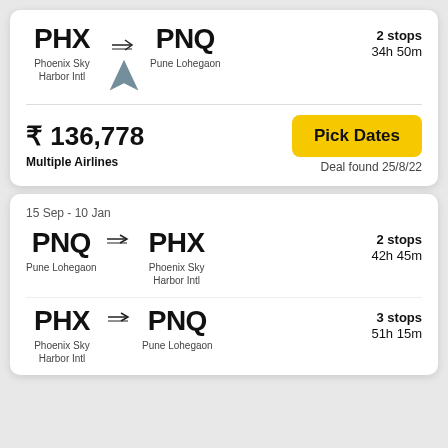PHX → PNQ | Phoenix Sky Harbor Intl → Pune Lohegaon | 2 stops | 34h 50m
₹ 136,778 | Multiple Airlines | Pick Dates | Deal found 25/8/22
15 Sep - 10 Jan
PNQ → PHX | Pune Lohegaon → Phoenix Sky Harbor Intl | 2 stops | 42h 45m
PHX → PNQ | Phoenix Sky Harbor Intl → Pune Lohegaon | 3 stops | 51h 15m